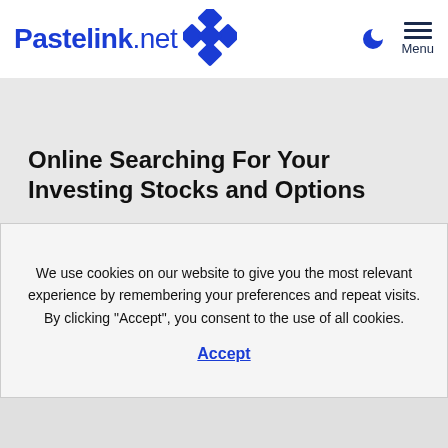Pastelink.net
Online Searching For Your Investing Stocks and Options
We use cookies on our website to give you the most relevant experience by remembering your preferences and repeat visits. By clicking “Accept”, you consent to the use of all cookies.

Accept